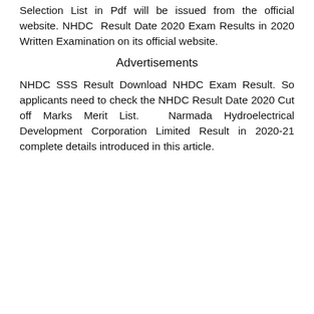Selection List in Pdf will be issued from the official website. NHDC Result Date 2020 Exam Results in 2020 Written Examination on its official website.
Advertisements
NHDC SSS Result Download NHDC Exam Result. So applicants need to check the NHDC Result Date 2020 Cut off Marks Merit List. Narmada Hydroelectrical Development Corporation Limited Result in 2020-21 complete details introduced in this article.